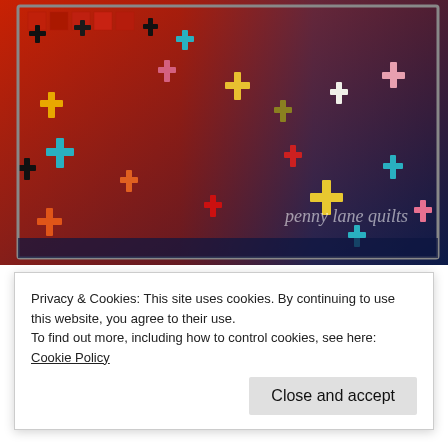[Figure (photo): A colorful quilt with plus/cross shapes in red, blue, yellow, teal, black, orange, and pink on a gradient background from red (left) to blue (right). Watermark reads 'penny lane quilts' in light text.]
The dense quilting made blocking essential and the laser square was a big help during this step, too. Soon the binding was attached and all I needed was a sunny day for photos!
Privacy & Cookies: This site uses cookies. By continuing to use this website, you agree to their use.
To find out more, including how to control cookies, see here: Cookie Policy
Close and accept